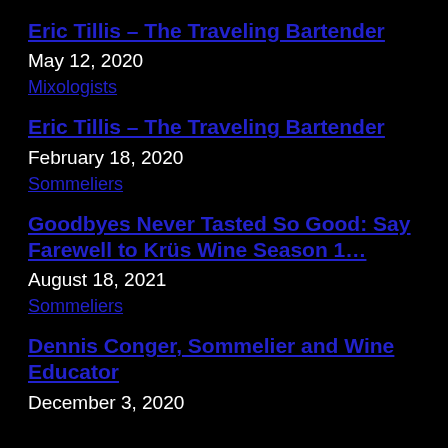Eric Tillis – The Traveling Bartender
May 12, 2020
Mixologists
Eric Tillis – The Traveling Bartender
February 18, 2020
Sommeliers
Goodbyes Never Tasted So Good: Say Farewell to Krüs Wine Season 1…
August 18, 2021
Sommeliers
Dennis Conger, Sommelier and Wine Educator
December 3, 2020